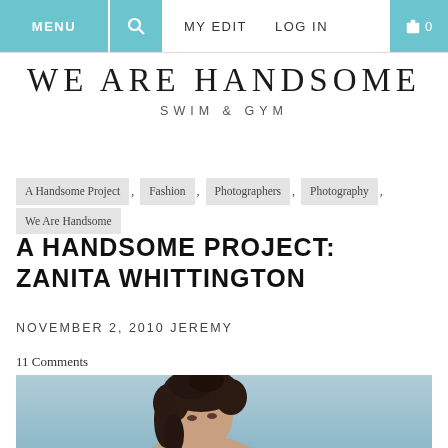MENU | [search icon] | MY EDIT | LOG IN | [cart] 0
WE ARE HANDSOME
SWIM & GYM
A Handsome Project , Fashion , Photographers , Photography , We Are Handsome
A HANDSOME PROJECT: ZANITA WHITTINGTON
NOVEMBER 2, 2010 JEREMY
11 Comments
[Figure (photo): Portrait photo of a woman with dark curly hair against a light blue/grey background, looking to the side.]